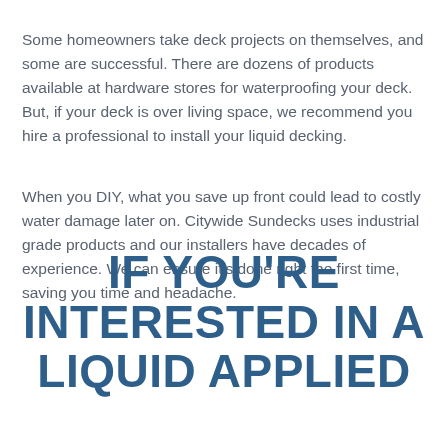Some homeowners take deck projects on themselves, and some are successful. There are dozens of products available at hardware stores for waterproofing your deck. But, if your deck is over living space, we recommend you hire a professional to install your liquid decking.
When you DIY, what you save up front could lead to costly water damage later on. Citywide Sundecks uses industrial grade products and our installers have decades of experience. We can ensure it's done right the first time, saving you time and headache.
IF YOU'RE INTERESTED IN A LIQUID APPLIED